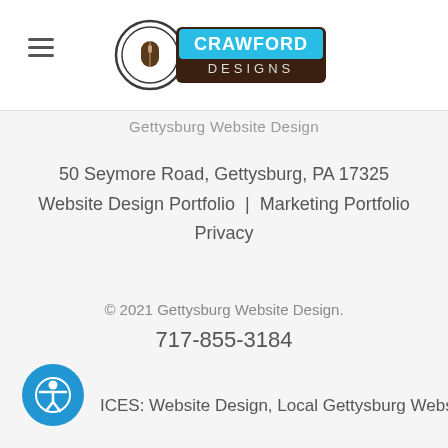[Figure (logo): Crawford Designs logo with mouse icon and blue/brown branding]
Gettysburg Website Design
50 Seymore Road, Gettysburg, PA 17325
Website Design Portfolio  |  Marketing Portfolio
Privacy
© 2021 Gettysburg Website Design.
717-855-3184
ICES: Website Design, Local Gettysburg Website